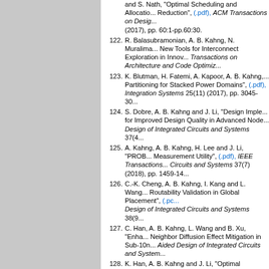and S. Nath, "Optimal Scheduling and Allocation... Reduction", (.pdf), ACM Transactions on Design... (2017), pp. 60:1-pp.60:30.
122. R. Balasubramonian, A. B. Kahng, N. Muralima... New Tools for Interconnect Exploration in Innov... Transactions on Architecture and Code Optimiz...
123. K. Blutman, H. Fatemi, A. Kapoor, A. B. Kahng,... Partitioning for Stacked Power Domains", (.pdf)... Integration Systems 25(11) (2017), pp. 3045-30...
124. S. Dobre, A. B. Kahng and J. Li, "Design Imple... for Improved Design Quality in Advanced Node... Design of Integrated Circuits and Systems 37(4...
125. A. Kahng, A. B. Kahng, H. Lee and J. Li, "PROB... Measurement Utility", (.pdf), IEEE Transactions... Circuits and Systems 37(7) (2018), pp. 1459-14...
126. C.-K. Cheng, A. B. Kahng, I. Kang and L. Wang... Routability Validation in Global Placement", (.pc... Design of Integrated Circuits and Systems 38(9...
127. C. Han, A. B. Kahng, L. Wang and B. Xu, "Enha... Neighbor Diffusion Effect Mitigation in Sub-10n... Aided Design of Integrated Circuits and System...
128. K. Han, A. B. Kahng and J. Li, "Optimal Genera... Performance and Low-Power Clock Distribution... Design of Integrated Circuits and Systems 39(2...
129. H. Fatemi, A. B. Kahng, H. Lee, J. Li and J. Pin... Power Reduction for an Industry IC Design Con... (2019), pp. 96-111.
130. H. Fatemi, A. B. Kahng, H. Lee and J. Pineda d... Exploitation of FDSOI", (.pdf), IEEE Transaction... Circuits and Systems 39(10) (2020), pp. 2860-2...
131. A. Coskun, F. Eris, A. Joshi, A. B. Kahng, Y. Ma... Optimization of Network Design and Chiplet Pl... Transactions on Computer-Aided Design of Inte... 5183-5196.
132. M. Fogaça, A. B. Kahng, E. Monteiro, R. Reis, R... Modularity-Based Clustering for Determining Pl... The VLSI Journal 74 (2020), pp. 32-44.
133. A. B. Kahng, L. Wang and B. Xu, "TritonRoute...